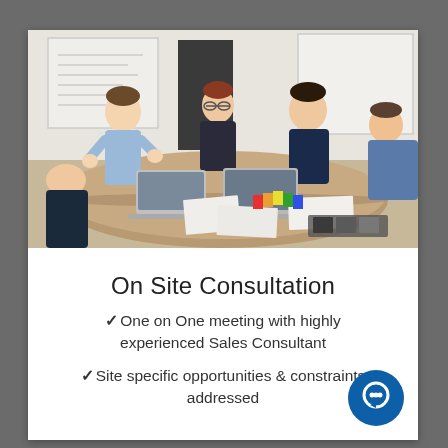[Figure (photo): Group of five people seated and standing around a conference table with laptops, papers, and color swatches, in a meeting room with a whiteboard in the background.]
On Site Consultation
One on One meeting with highly experienced Sales Consultant
Site specific opportunities & constraints addressed